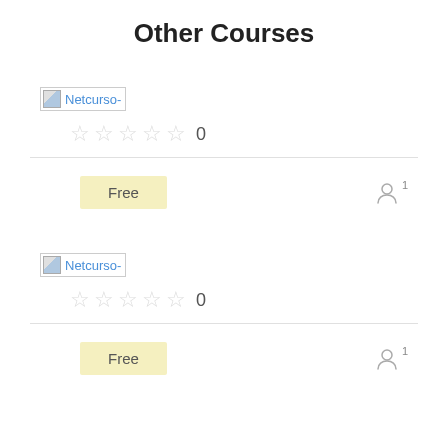Other Courses
[Figure (screenshot): Broken image placeholder with text 'Netcurso-' in blue, first course]
★★★★★ 0
Free
1 user
[Figure (screenshot): Broken image placeholder with text 'Netcurso-' in blue, second course]
★★★★★ 0
Free
1 user